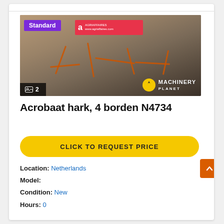[Figure (photo): Photo of an Acrobaat hay rake with 4 rotors, shown against a brick wall background. A 'Standard' purple badge appears in the top-left of the image, and a red Agriaffaires banner is visible at the top center. A 'Machinery Planet' logo with yellow/black icon is in the bottom-right. An image count badge showing '2' appears in the bottom-left.]
Acrobaat hark, 4 borden N4734
CLICK TO REQUEST PRICE
Location: Netherlands
Model:
Condition: New
Hours: 0